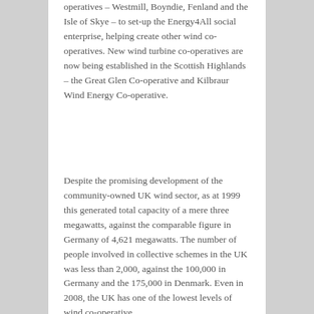operatives – Westmill, Boyndie, Fenland and the Isle of Skye – to set-up the Energy4All social enterprise, helping create other wind co-operatives. New wind turbine co-operatives are now being established in the Scottish Highlands – the Great Glen Co-operative and Kilbraur Wind Energy Co-operative.
Despite the promising development of the community-owned UK wind sector, as at 1999 this generated total capacity of a mere three megawatts, against the comparable figure in Germany of 4,621 megawatts. The number of people involved in collective schemes in the UK was less than 2,000, against the 100,000 in Germany and the 175,000 in Denmark. Even in 2008, the UK has one of the lowest levels of wind co-operative